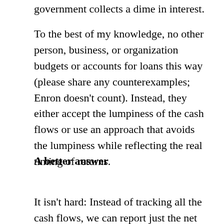government collects a dime in interest.
To the best of my knowledge, no other person, business, or organization budgets or accounts for loans this way (please share any counterexamples; Enron doesn't count). Instead, they either accept the lumpiness of the cash flows or use an approach that avoids the lumpiness while reflecting the real timing of returns.
A better answer
It isn't hard: Instead of tracking all the cash flows, we can report just the net returns on the loan. When the loan is first made, there aren't